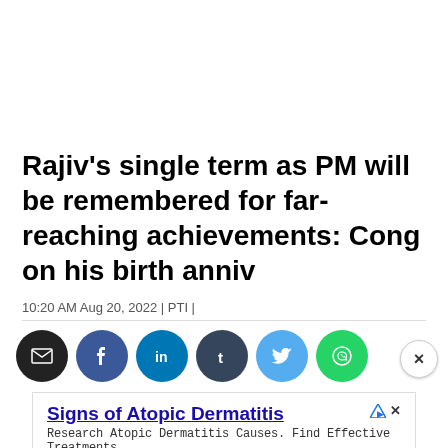Rajiv's single term as PM will be remembered for far-reaching achievements: Cong on his birth anniv
10:20 AM Aug 20, 2022 | PTI |
[Figure (other): Social sharing buttons: email (black), Facebook (blue), LinkedIn (steel blue), Tumblr (dark blue-grey), Twitter (light blue), WhatsApp (green)]
[Figure (other): Advertisement banner: Signs of Atopic Dermatitis - Research Atopic Dermatitis Causes. Find Effective Treatments - Yahoo Search - Open button]